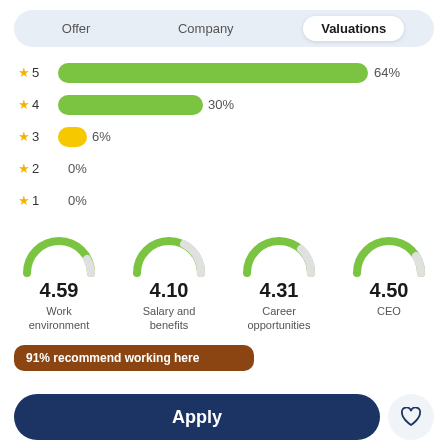Offer | Company | Valuations
[Figure (bar-chart): Star ratings distribution]
[Figure (infographic): Four gauge dials showing category scores: Work environment 4.59, Salary and benefits 4.10, Career opportunities 4.31, CEO 4.50]
91% recommend working here
Apply